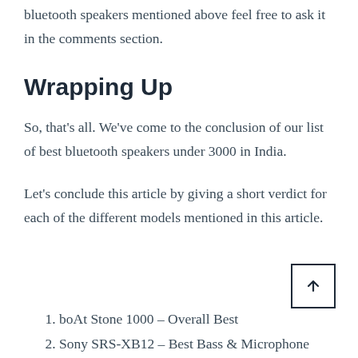bluetooth speakers mentioned above feel free to ask it in the comments section.
Wrapping Up
So, that's all. We've come to the conclusion of our list of best bluetooth speakers under 3000 in India.
Let's conclude this article by giving a short verdict for each of the different models mentioned in this article.
boAt Stone 1000 – Overall Best
Sony SRS-XB12 – Best Bass & Microphone